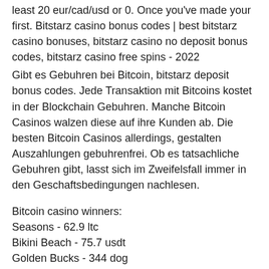least 20 eur/cad/usd or 0. Once you've made your first. Bitstarz casino bonus codes | best bitstarz casino bonuses, bitstarz casino no deposit bonus codes, bitstarz casino free spins - 2022
Gibt es Gebuhren bei Bitcoin, bitstarz deposit bonus codes. Jede Transaktion mit Bitcoins kostet in der Blockchain Gebuhren. Manche Bitcoin Casinos walzen diese auf ihre Kunden ab. Die besten Bitcoin Casinos allerdings, gestalten Auszahlungen gebuhrenfrei. Ob es tatsachliche Gebuhren gibt, lasst sich im Zweifelsfall immer in den Geschaftsbedingungen nachlesen.
Bitcoin casino winners:
Seasons - 62.9 ltc
Bikini Beach - 75.7 usdt
Golden Bucks - 344 dog
Black Horse - 279.4 bch
Legends of Ra - 286.5 eth
Photo Safari - 526.2 btc